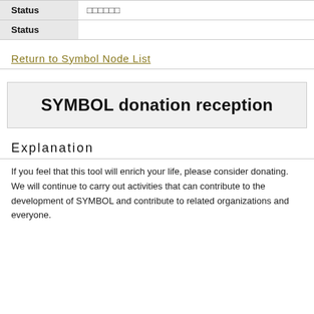| Status |  |
| --- | --- |
| Status | □□□□□□ |
| Status |  |
Return to Symbol Node List
SYMBOL donation reception
Explanation
If you feel that this tool will enrich your life, please consider donating.
We will continue to carry out activities that can contribute to the development of SYMBOL and contribute to related organizations and everyone.